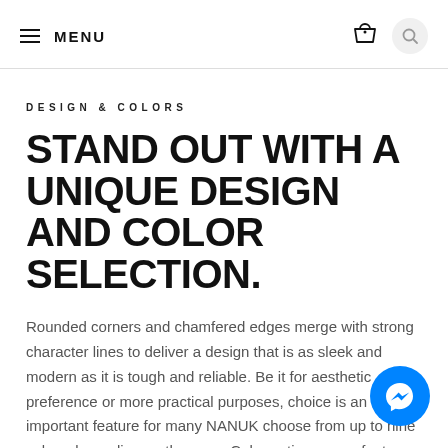MENU
DESIGN & COLORS
STAND OUT WITH A UNIQUE DESIGN AND COLOR SELECTION.
Rounded corners and chamfered edges merge with strong character lines to deliver a design that is as sleek and modern as it is tough and reliable. Be it for aesthetic preference or more practical purposes, choice is an important feature for many NANUK choose from up to nine colors depending on the case. Color options are a feature or more...